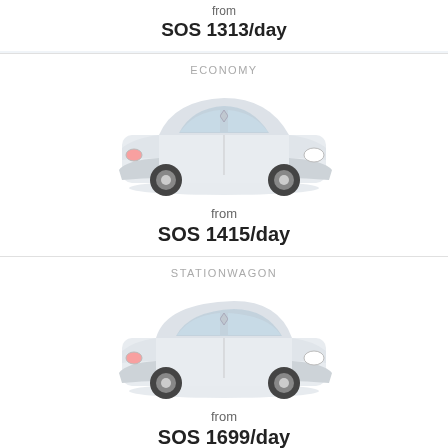from
SOS 1313/day
ECONOMY
[Figure (photo): White compact car (Renault Clio style) shown from front-left angle on white background]
from
SOS 1415/day
STATIONWAGON
[Figure (photo): White station wagon car (Renault Clio style) shown from front-left angle on white background]
from
SOS 1699/day
COMPACT